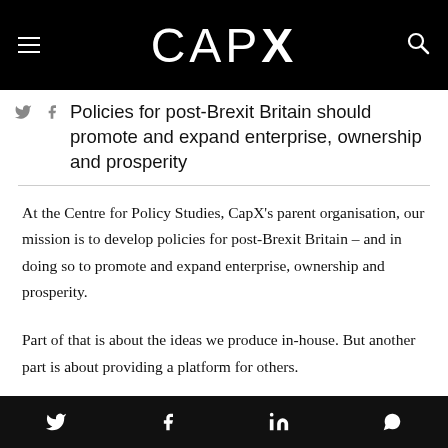CapX
Policies for post-Brexit Britain should promote and expand enterprise, ownership and prosperity
At the Centre for Policy Studies, CapX’s parent organisation, our mission is to develop policies for post-Brexit Britain – and in doing so to promote and expand enterprise, ownership and prosperity.
Part of that is about the ideas we produce in-house. But another part is about providing a platform for others.
Twitter, Facebook, LinkedIn, WhatsApp social share icons